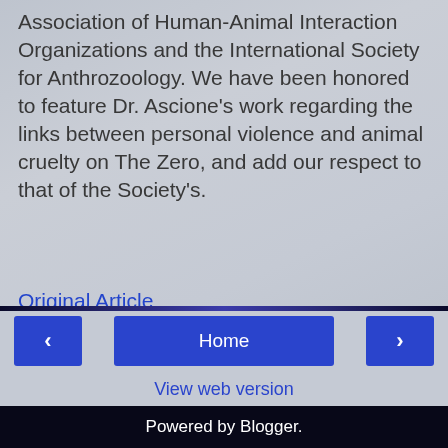Association of Human-Animal Interaction Organizations and the International Society for Anthrozoology. We have been honored to feature Dr. Ascione's work regarding the links between personal violence and animal cruelty on The Zero, and add our respect to that of the Society's.
Original Article
at 10:58 AM
Share
No comments:
Post a Comment
Home
View web version
Powered by Blogger.